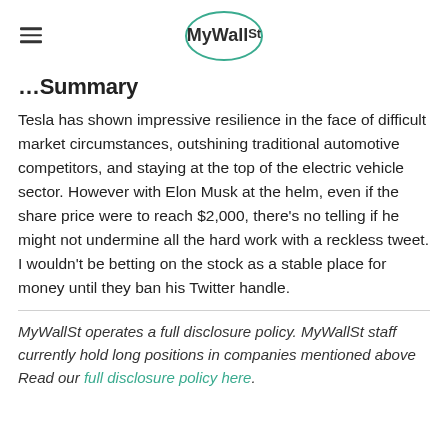MyWallSt
Summary
Tesla has shown impressive resilience in the face of difficult market circumstances, outshining traditional automotive competitors, and staying at the top of the electric vehicle sector. However with Elon Musk at the helm, even if the share price were to reach $2,000, there's no telling if he might not undermine all the hard work with a reckless tweet. I wouldn't be betting on the stock as a stable place for money until they ban his Twitter handle.
MyWallSt operates a full disclosure policy. MyWallSt staff currently hold long positions in companies mentioned above Read our full disclosure policy here.